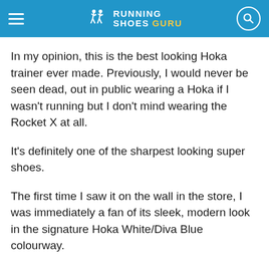RUNNING SHOES GURU
In my opinion, this is the best looking Hoka trainer ever made. Previously, I would never be seen dead, out in public wearing a Hoka if I wasn't running but I don't mind wearing the Rocket X at all.
It's definitely one of the sharpest looking super shoes.
The first time I saw it on the wall in the store, I was immediately a fan of its sleek, modern look in the signature Hoka White/Diva Blue colourway.
I love the yellow outsole and how the blue and yellow design on the upper extends down into the midsole.